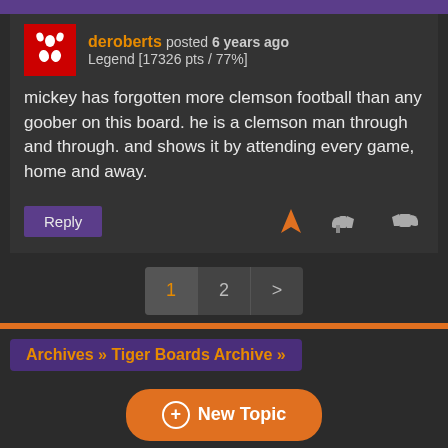Everyone needs to be
deroberts posted 6 years ago
Legend [17326 pts / 77%]
mickey has forgotten more clemson football than any goober on this board. he is a clemson man through and through. and shows it by attending every game, home and away.
[Figure (screenshot): Reply button, flag icon, thumbs down icon, thumbs up icon]
[Figure (screenshot): Pagination: page 1 (active, orange), page 2, next arrow >]
Archives » Tiger Boards Archive »
+ New Topic